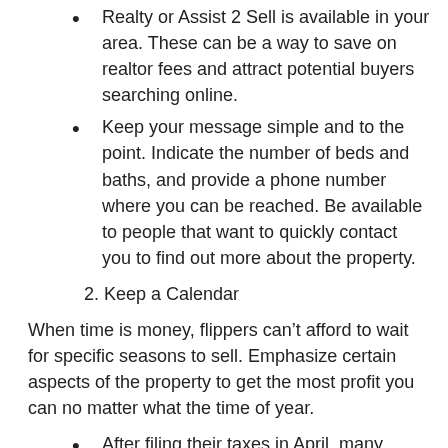Realty or Assist 2 Sell is available in your area. These can be a way to save on realtor fees and attract potential buyers searching online.
Keep your message simple and to the point. Indicate the number of beds and baths, and provide a phone number where you can be reached. Be available to people that want to quickly contact you to find out more about the property.
2. Keep a Calendar
When time is money, flippers can’t afford to wait for specific seasons to sell. Emphasize certain aspects of the property to get the most profit you can no matter what the time of year.
After filing their taxes in April, many people are motivated to buy a new home in order to take the mortgage interest deduction, reducing their tax burden for the following tax year.
In the summer months, you may be able to get a